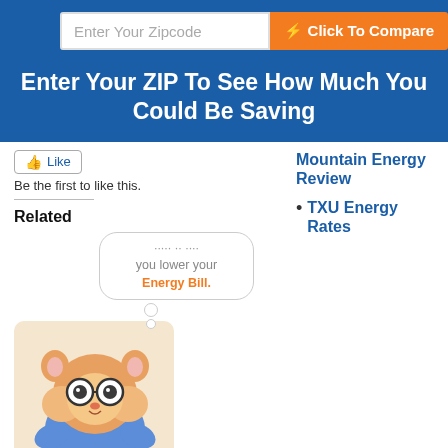[Figure (infographic): Zipcode input field with 'Enter Your Zipcode' placeholder and orange 'Click To Compare' button on a blue background]
Enter Your ZIP To See How Much You Could Be Saving
[Figure (illustration): Like button and 'Be the first to like this.' text, followed by Related section with speech bubble saying 'you lower your Energy Bill.' and a cartoon hamster character]
Be the first to like this.
Related
Lowest Electricity Rates for Irving TX – August 2021
August 8, 2021
In "Best Electricity Rates"
Mountain Energy Review
TXU Energy Rates